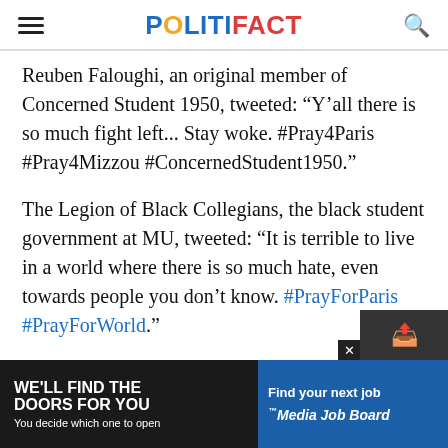POLITIFACT
Reuben Faloughi, an original member of Concerned Student 1950, tweeted: "Y'all there is so much fight left... Stay woke. #Pray4Paris #Pray4Mizzou #ConcernedStudent1950."
The Legion of Black Collegians, the black student government at MU, tweeted: "It is terrible to live in a world where there is so much hate, even towards people you don't know. #PrayForParis #PrayForWorld."
Our conclusion
Some
[Figure (other): Advertisement banner: 'WE'LL FIND THE DOORS FOR YOU – You decide which one to open' on dark background, and 'Find your next job – Media Job Board' on blue background]